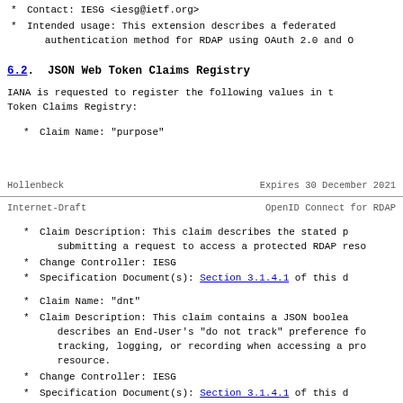* Contact: IESG <iesg@ietf.org>
* Intended usage: This extension describes a federated authentication method for RDAP using OAuth 2.0 and O
6.2. JSON Web Token Claims Registry
IANA is requested to register the following values in the JSON Web Token Claims Registry:
* Claim Name: "purpose"
Hollenbeck                    Expires 30 December 2021
Internet-Draft              OpenID Connect for RDAP
* Claim Description: This claim describes the stated p submitting a request to access a protected RDAP reso
* Change Controller: IESG
* Specification Document(s): Section 3.1.4.1 of this d
* Claim Name: "dnt"
* Claim Description: This claim contains a JSON boolean describes an End-User's "do not track" preference for tracking, logging, or recording when accessing a pro resource.
* Change Controller: IESG
* Specification Document(s): Section 3.1.4.1 of this d